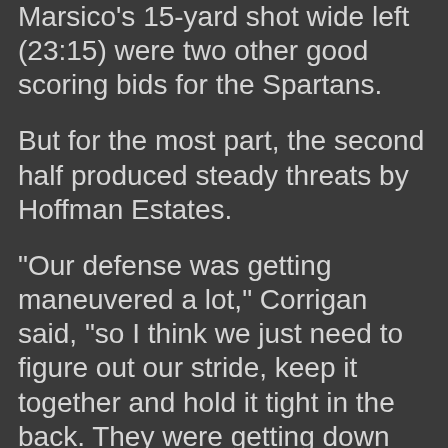Marsico's 15-yard shot wide left (23:15) were two other good scoring bids for the Spartans.
But for the most part, the second half produced steady threats by Hoffman Estates.
“Our defense was getting maneuvered a lot,” Corrigan said, “so I think we just need to figure out our stride, keep it together and hold it tight in the back. They were getting down our outside way too easy.”
Along with shots just over or wide of the net by the Hawks Martinez, Kalen Eberman and Manny Amezcua were